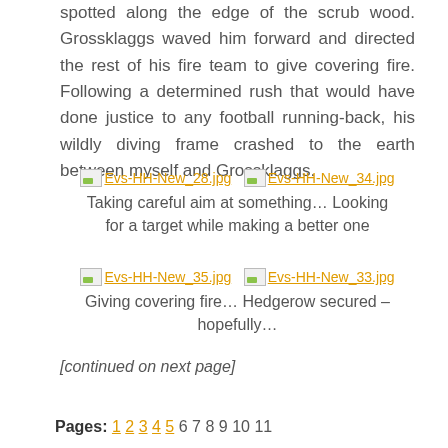spotted along the edge of the scrub wood. Grossklaggs waved him forward and directed the rest of his fire team to give covering fire. Following a determined rush that would have done justice to any football running-back, his wildly diving frame crashed to the earth between myself and Grossklaggs.
[Figure (other): Two broken image placeholders labeled Evs-HH-New_28.jpg and Evs-HH-New_34.jpg with orange underlined filenames]
Taking careful aim at something… Looking for a target while making a better one
[Figure (other): Two broken image placeholders labeled Evs-HH-New_35.jpg and Evs-HH-New_33.jpg with orange underlined filenames]
Giving covering fire… Hedgerow secured – hopefully…
[continued on next page]
Pages: 1 2 3 4 5 6 7 8 9 10 11